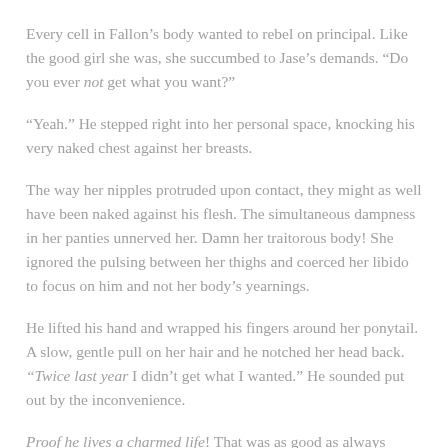Every cell in Fallon’s body wanted to rebel on principal. Like the good girl she was, she succumbed to Jase’s demands. “Do you ever not get what you want?”
“Yeah.” He stepped right into her personal space, knocking his very naked chest against her breasts.
The way her nipples protruded upon contact, they might as well have been naked against his flesh. The simultaneous dampness in her panties unnerved her. Damn her traitorous body! She ignored the pulsing between her thighs and coerced her libido to focus on him and not her body’s yearnings.
He lifted his hand and wrapped his fingers around her ponytail. A slow, gentle pull on her hair and he notched her head back. “Twice last year I didn’t get what I wanted.” He sounded put out by the inconvenience.
Proof he lives a charmed life! That was as good as always getting his way in her valuation. She’d endured many more disappointments